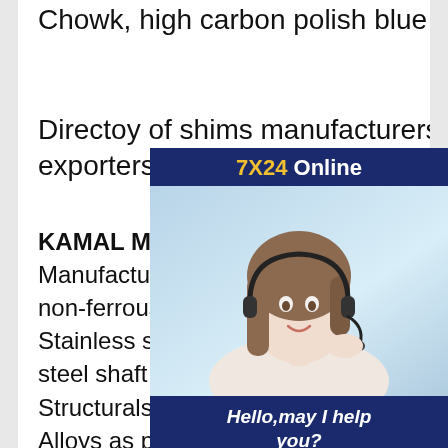Chowk, high carbon polish blue tempered steel strip
Directoy of shims manufacturers exporters, importers, traders
KAMAL METAL CORPORATION Manufacturer and exporter of ferrous and non-ferrous metals. Detail products: Stainless steel, Pipes, Fitttings, Stainless steel shaft bars, Sheets Plates Cuts Structurals,Copper Cuppero Nickel Alloys as per BS and IS Standards. Stainless-Solid drawn, Annealed Tubes and Pipes in sizes of 1/8 OD to 12 OD and wall Thickness high carbon polish blue tempered steel stripEF Ceramic Faucet Cartridge Supplier, Garden Faucet high carbon polish blue tempered steel
[Figure (other): Online chat advertisement widget with a woman wearing a headset and text '7X24 Online', 'Hello, may I help you?' and a 'Get Latest Price' button]